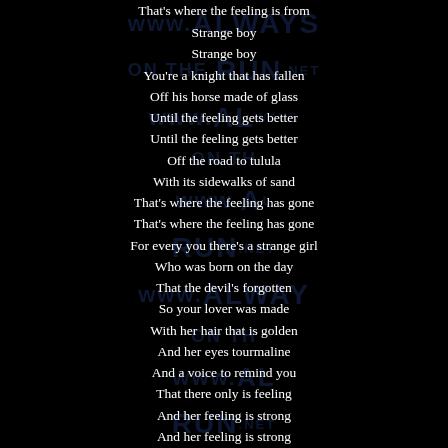That's where the feeling is from
Strange boy
Strange boy
You're a knight that has fallen
Off his horse made of glass
Until the feeling gets better
Until the feeling gets better
Off the road to tulula
With its sidewalks of sand
That's where the feeling has gone
That's where the feeling has gone
For every you there's a strange girl
Who was born on the day
That the devil's forgotten
So your lover was made
With her hair that is golden
And her eyes tourmaline
And a voice to remind you
That there only is feeling
And her feeling is strong
And her feeling is strong